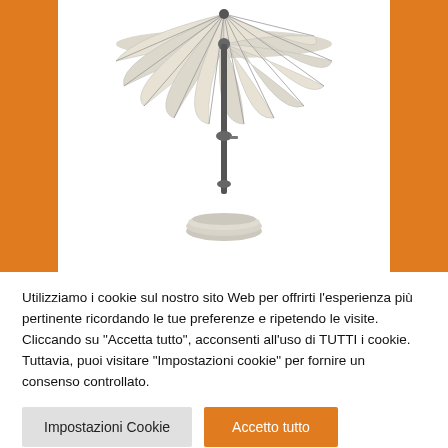[Figure (photo): A patio garden umbrella with white/cream canopy, dark metal pole and round base, shown on a white background with orange side panels.]
Utilizziamo i cookie sul nostro sito Web per offrirti l'esperienza più pertinente ricordando le tue preferenze e ripetendo le visite. Cliccando su "Accetta tutto", acconsenti all'uso di TUTTI i cookie. Tuttavia, puoi visitare "Impostazioni cookie" per fornire un consenso controllato.
Impostazioni Cookie
Accetto tutto